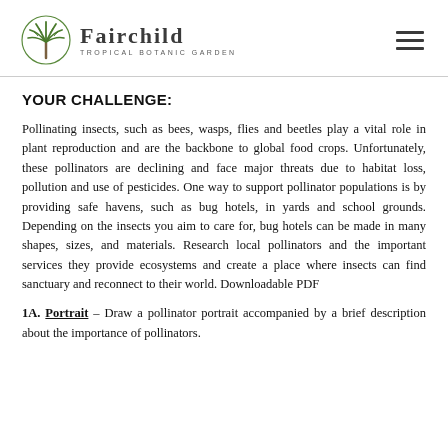Fairchild Tropical Botanic Garden
YOUR CHALLENGE:
Pollinating insects, such as bees, wasps, flies and beetles play a vital role in plant reproduction and are the backbone to global food crops. Unfortunately, these pollinators are declining and face major threats due to habitat loss, pollution and use of pesticides. One way to support pollinator populations is by providing safe havens, such as bug hotels, in yards and school grounds. Depending on the insects you aim to care for, bug hotels can be made in many shapes, sizes, and materials. Research local pollinators and the important services they provide ecosystems and create a place where insects can find sanctuary and reconnect to their world. Downloadable PDF
1A. Portrait – Draw a pollinator portrait accompanied by a brief description about the importance of pollinators.